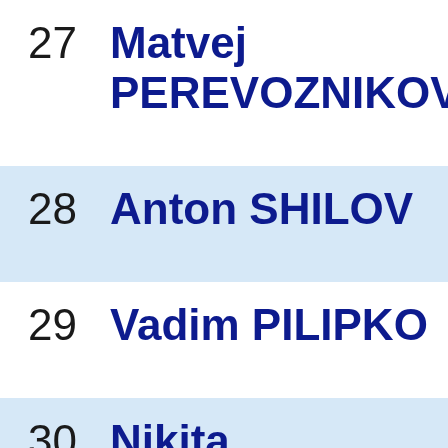| # | Name |
| --- | --- |
| 27 | Matvej PEREVOZNIKOV |
| 28 | Anton SHILOV |
| 29 | Vadim PILIPKO |
| 30 | Nikita PONOMAREV (2006) |
| 31 | Arman |